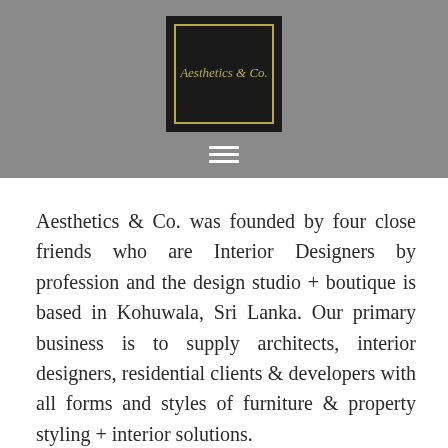[Figure (logo): Aesthetics & Co. logo — black square with gold rectangular border and gold italic text reading 'Aesthetics & Co.' centered inside, set against a grey header background with a hamburger menu icon below]
Aesthetics & Co. was founded by four close friends who are Interior Designers by profession and the design studio + boutique is based in Kohuwala, Sri Lanka. Our primary business is to supply architects, interior designers, residential clients & developers with all forms and styles of furniture & property styling + interior solutions.